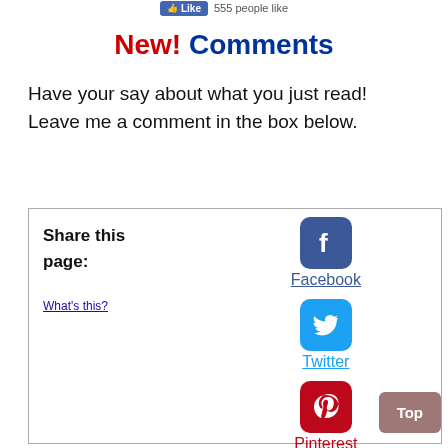👍 Like   555 people like
New! Comments
Have your say about what you just read! Leave me a comment in the box below.
Share this page:
What's this?
Facebook
Twitter
Pinterest